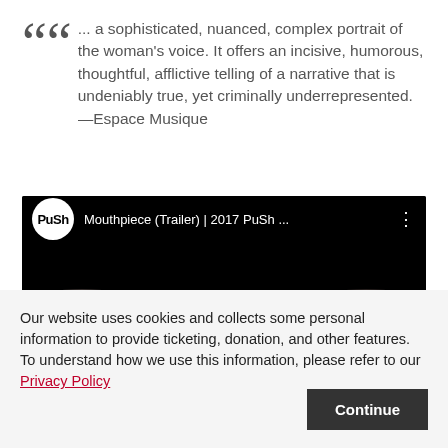... a sophisticated, nuanced, complex portrait of the woman's voice. It offers an incisive, humorous, thoughtful, afflictive telling of a narrative that is undeniably true, yet criminally underrepresented. —Espace Musique
[Figure (screenshot): YouTube-style video embed showing 'Mouthpiece (Trailer) | 2017 PuSh ...' with PuSh logo circle on left, white text title, and three-dot menu icon. Dark background with blurred hands/hair visible below.]
Our website uses cookies and collects some personal information to provide ticketing, donation, and other features. To understand how we use this information, please refer to our Privacy Policy